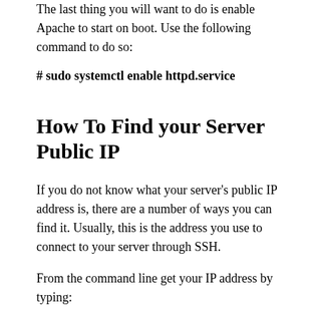The last thing you will want to do is enable Apache to start on boot. Use the following command to do so:
# sudo systemctl enable httpd.service
How To Find your Server Public IP
If you do not know what your server's public IP address is, there are a number of ways you can find it. Usually, this is the address you use to connect to your server through SSH.
From the command line get your IP address by typing:
# curl https://ipinfo.io/ip